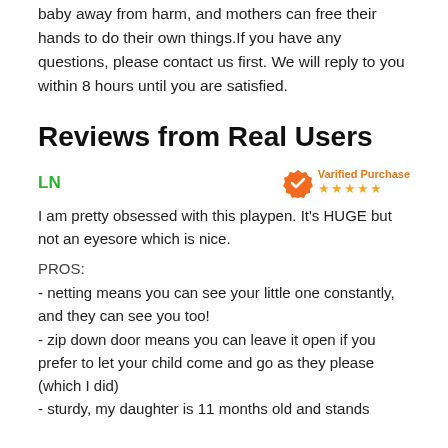baby away from harm, and mothers can free their hands to do their own things.If you have any questions, please contact us first. We will reply to you within 8 hours until you are satisfied.
Reviews from Real Users
LN
Varified Purchase ★★★★★
I am pretty obsessed with this playpen. It's HUGE but not an eyesore which is nice.
PROS:
- netting means you can see your little one constantly, and they can see you too!
- zip down door means you can leave it open if you prefer to let your child come and go as they please (which I did)
- sturdy, my daughter is 11 months old and stands